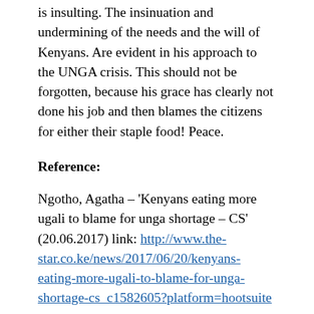is insulting. The insinuation and undermining of the needs and the will of Kenyans. Are evident in his approach to the UNGA crisis. This should not be forgotten, because his grace has clearly not done his job and then blames the citizens for either their staple food! Peace.
Reference:
Ngotho, Agatha – 'Kenyans eating more ugali to blame for unga shortage – CS' (20.06.2017) link: http://www.the-star.co.ke/news/2017/06/20/kenyans-eating-more-ugali-to-blame-for-unga-shortage-cs_c1582605?platform=hootsuite